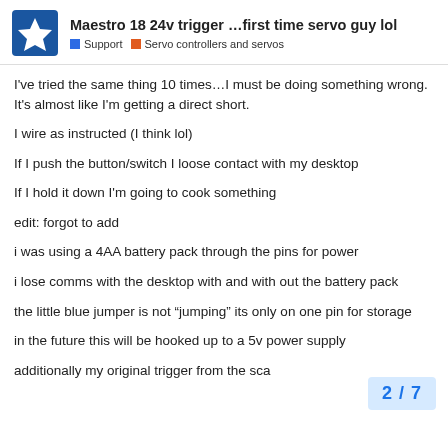Maestro 18 24v trigger …first time servo guy lol | Support | Servo controllers and servos
I've tried the same thing 10 times…I must be doing something wrong. It's almost like I'm getting a direct short.
I wire as instructed (I think lol)
If I push the button/switch I loose contact with my desktop
If I hold it down I'm going to cook something
edit: forgot to add
i was using a 4AA battery pack through the pins for power
i lose comms with the desktop with and with out the battery pack
the little blue jumper is not “jumping” its only on one pin for storage
in the future this will be hooked up to a 5v power supply
additionally my original trigger from the sca…